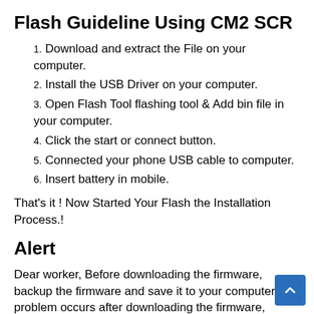Flash Guideline Using CM2 SCR
Download and extract the File on your computer.
Install the USB Driver on your computer.
Open Flash Tool flashing tool & Add bin file in your computer.
Click the start or connect button.
Connected your phone USB cable to computer.
Insert battery in mobile.
That's it ! Now Started Your Flash the Installation Process.!
Alert
Dear worker, Before downloading the firmware, backup the firmware and save it to your computer. If a problem occurs after downloading the firmware, then you can re-download the firmware and return it